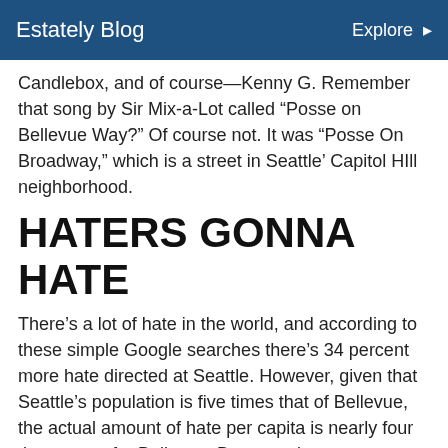Estately Blog   Explore
Candlebox, and of course—Kenny G. Remember that song by Sir Mix-a-Lot called “Posse on Bellevue Way?” Of course not. It was “Posse On Broadway,” which is a street in Seattle’ Capitol HIll neighborhood.
HATERS GONNA HATE
There’s a lot of hate in the world, and according to these simple Google searches there’s 34 percent more hate directed at Seattle. However, given that Seattle’s population is five times that of Bellevue, the actual amount of hate per capita is nearly four times more for Bellevue. Because these are “statistics” they can be skewed to reach whatever conclusion is preferable.